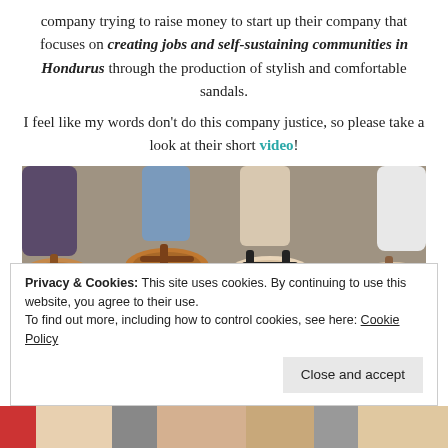company trying to raise money to start up their company that focuses on creating jobs and self-sustaining communities in Hondurus through the production of stylish and comfortable sandals.
I feel like my words don't do this company justice, so please take a look at their short video!
[Figure (photo): Photo of several women's feet wearing stylish sandals on a concrete surface, viewed from above]
Privacy & Cookies: This site uses cookies. By continuing to use this website, you agree to their use.
To find out more, including how to control cookies, see here: Cookie Policy
Close and accept